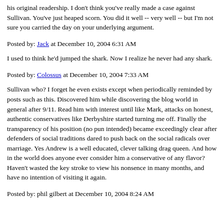his original readership. I don't think you've really made a case against Sullivan. You've just heaped scorn. You did it well -- very well -- but I'm not sure you carried the day on your underlying argument.
Posted by: Jack at December 10, 2004 6:31 AM
I used to think he'd jumped the shark. Now I realize he never had any shark.
Posted by: Colossus at December 10, 2004 7:33 AM
Sullivan who? I forget he even exists except when periodically reminded by posts such as this. Discovered him while discovering the blog world in general after 9/11. Read him with interest until like Mark, attacks on honest, authentic conservatives like Derbyshire started turning me off. Finally the transparency of his position (no pun intended) became exceedingly clear after defenders of social traditions dared to push back on the social radicals over marriage. Yes Andrew is a well educated, clever talking drag queen. And how in the world does anyone ever consider him a conservative of any flavor? Haven't wasted the key stroke to view his nonsence in many months, and have no intention of visiting it again.
Posted by: phil gilbert at December 10, 2004 8:24 AM